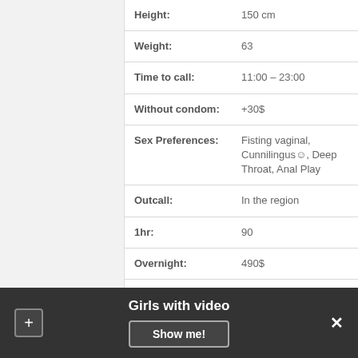| Field | Value |
| --- | --- |
| Height: | 150 cm |
| Weight: | 63 |
| Time to call: | 11:00 – 23:00 |
| Without condom: | +30$ |
| Sex Preferences: | Fisting vaginal, Cunnilingus☺, Deep Throat, Anal Play |
| Outcall: | In the region |
| 1hr: | 90 |
| Overnight: | 490$ |
| Origin: | Ukrainian |
CONTACT
Girls with video  Show me!